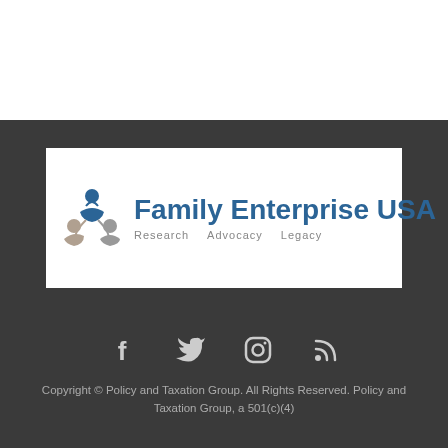[Figure (logo): Family Enterprise USA logo with circular icon and tagline: Research, Advocacy, Legacy]
[Figure (infographic): Social media icons: Facebook, Twitter, Instagram, RSS feed]
Copyright © Policy and Taxation Group. All Rights Reserved. Policy and Taxation Group, a 501(c)(4)